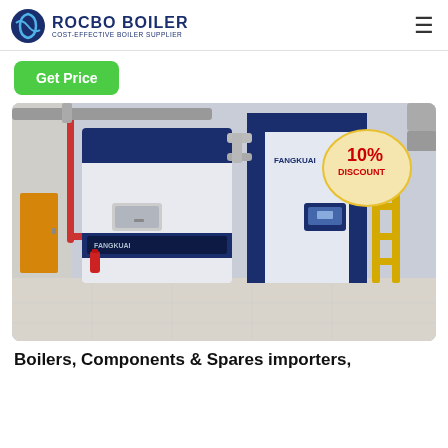ROCBO BOILER — COST-EFFECTIVE BOILER SUPPLIER
Get Price
[Figure (photo): Industrial boiler room with large blue and white boilers (branded FANGKUAI), pipes, a fire extinguisher, and a 10% DISCOUNT badge overlaid in the upper right corner.]
Boilers, Components & Spares importers,